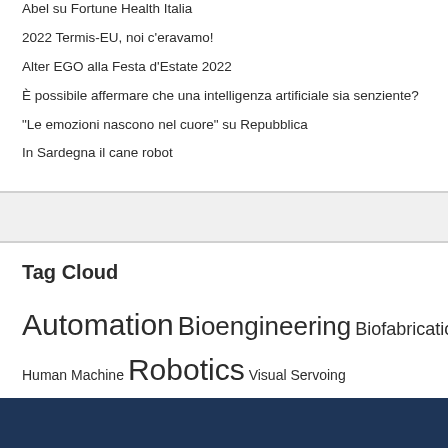Abel su Fortune Health Italia
2022 Termis-EU, noi c'eravamo!
Alter EGO alla Festa d'Estate 2022
È possibile affermare che una intelligenza artificiale sia senziente?
"Le emozioni nascono nel cuore" su Repubblica
In Sardegna il cane robot
Tag Cloud
Automation Bioengineering Biofabrication Human Machine Robotics Visual Servoing